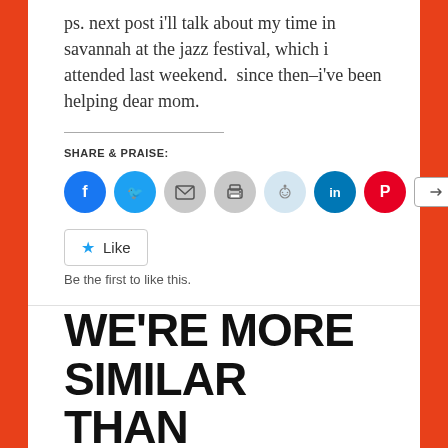ps. next post i'll talk about my time in savannah at the jazz festival, which i attended last weekend.  since then–i've been helping dear mom.
SHARE & PRAISE:
[Figure (other): Social sharing icons: Facebook, Twitter, Email, Print, Reddit, LinkedIn, Pinterest, and a More button]
[Figure (other): Like button with star icon]
Be the first to like this.
WE'RE MORE SIMILAR THAN DISSIMILAR